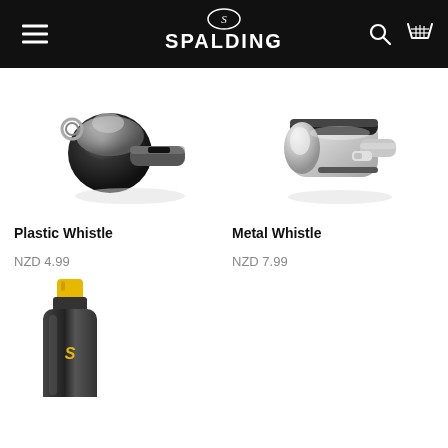SPALDING
[Figure (photo): Plastic whistle - black and chrome metal whistle with keyring attachment]
[Figure (photo): Metal whistle - silver/chrome polished metal whistle]
Plastic Whistle
NZD 4.99
Metal Whistle
NZD 7.99
[Figure (photo): Black sports water bottle with yellow cap and Spalding logo, partially visible at bottom of page]